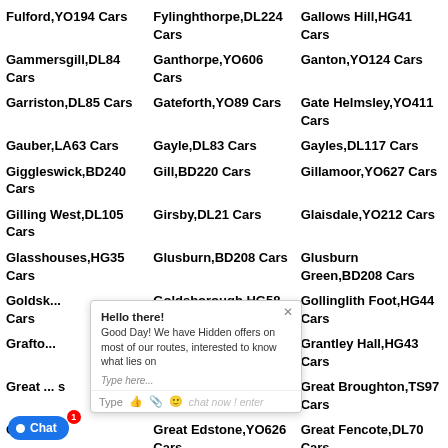Fulford,YO194 Cars
Fylinghthorpe,DL224 Cars
Gallows Hill,HG41 Cars
Gammersgill,DL84 Cars
Ganthorpe,YO606 Cars
Ganton,YO124 Cars
Garriston,DL85 Cars
Gateforth,YO89 Cars
Gate Helmsley,YO411 Cars
Gauber,LA63 Cars
Gayle,DL83 Cars
Gayles,DL117 Cars
Giggleswick,BD240 Cars
Gill,BD220 Cars
Gillamoor,YO627 Cars
Gilling West,DL105 Cars
Girsby,DL21 Cars
Glaisdale,YO212 Cars
Glasshouses,HG35 Cars
Glusburn,BD208 Cars
Glusburn Green,BD208 Cars
Goldsbrough,... Cars
Goldsborough,HG58 Cars
Gollinglith Foot,HG44 Cars
Grafton,... Cars
Grangetown,TS67 Cars
Grantley Hall,HG43 Cars
Great Barugh,YO176 Cars
Great Broughton,TS97 Cars
Great Edstone,YO626 Cars
Great Fencote,DL70 Cars
Great Heck,DN140 Cars
Great Langton,DL70 Cars
Great Ouseburn,YO269 Cars